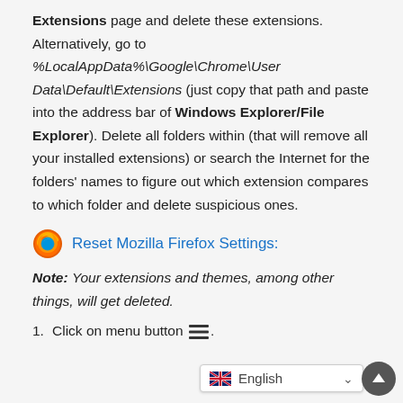Extensions page and delete these extensions. Alternatively, go to %LocalAppData%\Google\Chrome\User Data\Default\Extensions (just copy that path and paste into the address bar of Windows Explorer/File Explorer). Delete all folders within (that will remove all your installed extensions) or search the Internet for the folders' names to figure out which extension compares to which folder and delete suspicious ones.
Reset Mozilla Firefox Settings:
Note: Your extensions and themes, among other things, will get deleted.
1. Click on menu button ☰.